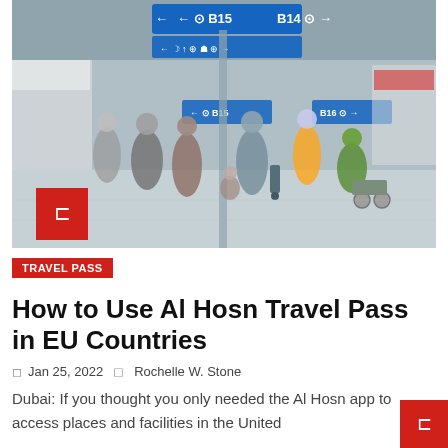[Figure (photo): Airport terminal interior showing travelers walking through a large hall with blue directional signs (B15, B14, B16) overhead. People wearing face masks are visible, some pulling luggage. A staff member in a high-visibility vest is present. A red bookmark/save icon box is overlaid in the lower-left of the image.]
TRAVEL PASS
How to Use Al Hosn Travel Pass in EU Countries
Jan 25, 2022  Rochelle W. Stone
Dubai: If you thought you only needed the Al Hosn app to access places and facilities in the United